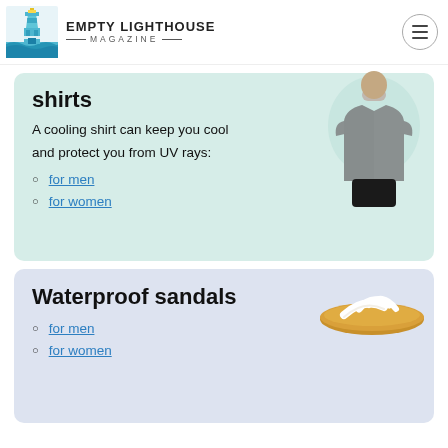EMPTY LIGHTHOUSE MAGAZINE
shirts
A cooling shirt can keep you cool and protect you from UV rays:
for men
for women
[Figure (photo): Man wearing a gray t-shirt]
Waterproof sandals
[Figure (photo): White and tan flip-flop sandals]
for men
for women